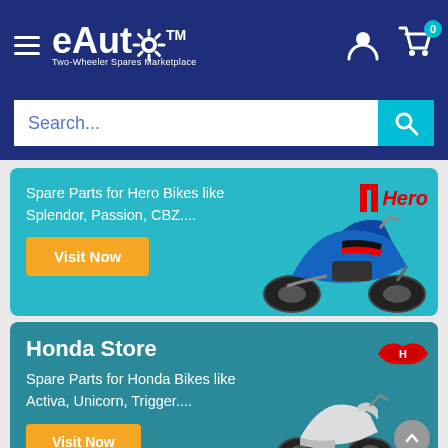[Figure (screenshot): eAuto Two-Wheeler Spares Marketplace navigation bar with hamburger menu, logo, user icon and cart icon with badge showing 0]
[Figure (screenshot): Search bar with placeholder text 'Search...' and teal search button]
Spare Parts for Hero Bikes like Splendor, Passion, CBZ....
[Figure (photo): Hero branded blue motorcycle (Splendor/Passion style) on teal background with Hero logo]
Visit Now
Honda Store
Spare Parts for Honda Bikes like Activa, Unicorn, Trigger....
[Figure (photo): Honda scooter on teal background with Honda wing logo]